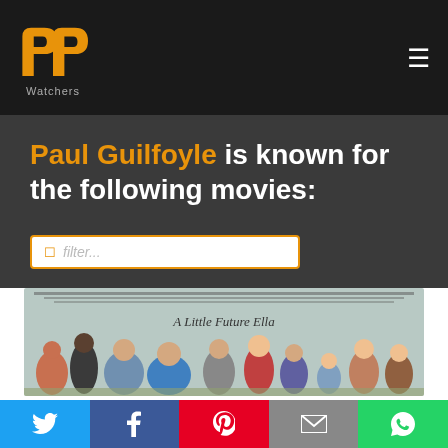PP Watchers logo and navigation
Paul Guilfoyle is known for the following movies:
filter...
[Figure (photo): Movie poster showing a group of people, text reads 'A Little Future Ella' at the top]
Twitter | Facebook | Pinterest | Email | WhatsApp share buttons